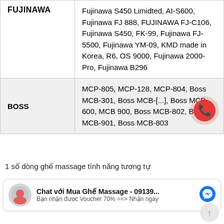| Brand | Models |
| --- | --- |
| FUJINAWA | Fujinawa S450 Limidted, AI-S600, Fujinawa FJ 888, FUJINAWA FJ-C106, Fujinawa S450, FK-99, Fujinawa FJ-5500, Fujinawa YM-09, KMD made in Korea, R6, OS 9000, Fujinawa 2000-Pro, Fujinawa B296 |
| BOSS | MCP-805, MCP-128, MCP-804, Boss MCB-301, Boss MCB-[...], Boss MCB-600, MCB 900, Boss MCB-802, Boss MCB-901, Boss MCB-803 |
1 số dòng ghế massage tính năng tương tự
Chat với Mua Ghế Massage - 09139... Bạn nhận được Voucher 70% ==> Nhận ngay